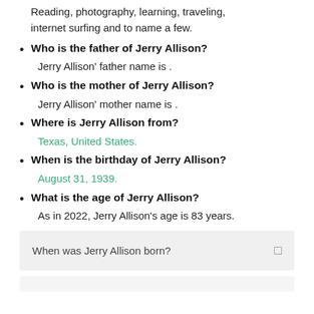Reading, photography, learning, traveling, internet surfing and to name a few.
Who is the father of Jerry Allison?
Jerry Allison' father name is .
Who is the mother of Jerry Allison?
Jerry Allison' mother name is .
Where is Jerry Allison from?
Texas, United States.
When is the birthday of Jerry Allison?
August 31, 1939.
What is the age of Jerry Allison?
As in 2022, Jerry Allison's age is 83 years.
When was Jerry Allison born?